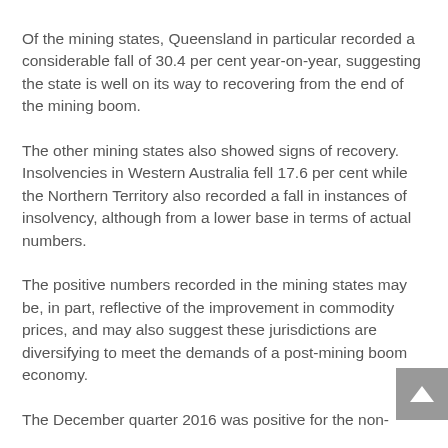Of the mining states, Queensland in particular recorded a considerable fall of 30.4 per cent year-on-year, suggesting the state is well on its way to recovering from the end of the mining boom.
The other mining states also showed signs of recovery. Insolvencies in Western Australia fell 17.6 per cent while the Northern Territory also recorded a fall in instances of insolvency, although from a lower base in terms of actual numbers.
The positive numbers recorded in the mining states may be, in part, reflective of the improvement in commodity prices, and may also suggest these jurisdictions are diversifying to meet the demands of a post-mining boom economy.
The December quarter 2016 was positive for the non-